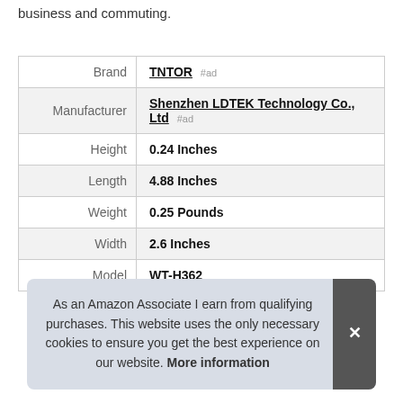business and commuting.
|  |  |
| --- | --- |
| Brand | TNTOR #ad |
| Manufacturer | Shenzhen LDTEK Technology Co., Ltd #ad |
| Height | 0.24 Inches |
| Length | 4.88 Inches |
| Weight | 0.25 Pounds |
| Width | 2.6 Inches |
| Model | WT-H362 |
As an Amazon Associate I earn from qualifying purchases. This website uses the only necessary cookies to ensure you get the best experience on our website. More information